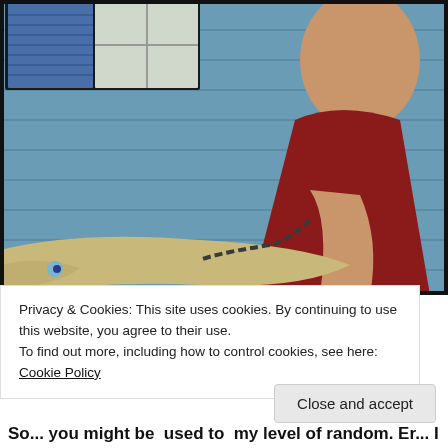[Figure (illustration): Painting of a woman in a red dress sitting on steps against a blue wooden siding wall, with a chained alligator or large reptile in the foreground at the bottom.]
Privacy & Cookies: This site uses cookies. By continuing to use this website, you agree to their use.
To find out more, including how to control cookies, see here: Cookie Policy
Close and accept
So... you might be used to my level of random. Er... I